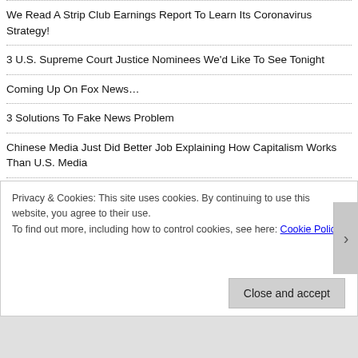We Read A Strip Club Earnings Report To Learn Its Coronavirus Strategy!
3 U.S. Supreme Court Justice Nominees We'd Like To See Tonight
Coming Up On Fox News…
3 Solutions To Fake News Problem
Chinese Media Just Did Better Job Explaining How Capitalism Works Than U.S. Media
Thanks, America – Four Years Of The Apprentice On Every Cable News Channel!
Trump Appears Too Lazy To Know Michael Moore Does Not
Privacy & Cookies: This site uses cookies. By continuing to use this website, you agree to their use.
To find out more, including how to control cookies, see here: Cookie Policy
Close and accept